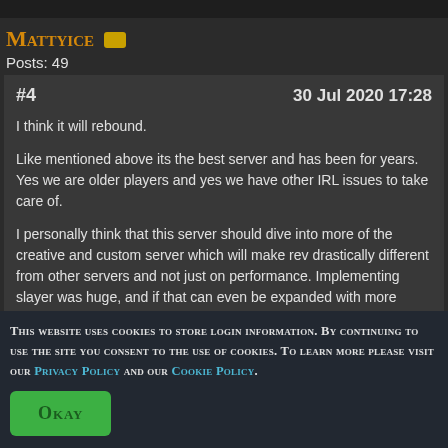Mattyice
Posts: 49
#4    30 Jul 2020 17:28
I think it will rebound.

Like mentioned above its the best server and has been for years. Yes we are older players and yes we have other IRL issues to take care of.

I personally think that this server should dive into more of the creative and custom server which will make rev drastically different from other servers and not just on performance. Implementing slayer was huge, and if that can even be expanded with more monsters and more unique drops that
This website uses cookies to store login information. By continuing to use the site you consent to the use of cookies. To learn more please visit our PRIVACY POLICY and our COOKIE POLICY.
OKAY